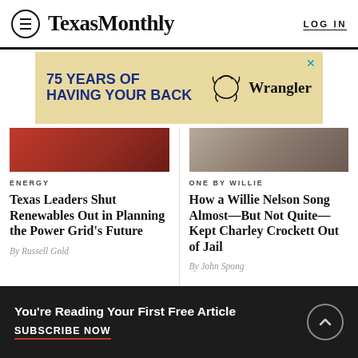Texas Monthly  LOG IN
[Figure (infographic): Wrangler advertisement: 75 YEARS OF HAVING YOUR BACK with Wrangler horse logo]
ENERGY
Texas Leaders Shut Renewables Out in Planning the Power Grid's Future
By Russell Gold
ONE BY WILLIE
How a Willie Nelson Song Almost—But Not Quite—Kept Charley Crockett Out of Jail
By John Spong
You're Reading Your First Free Article
SUBSCRIBE NOW